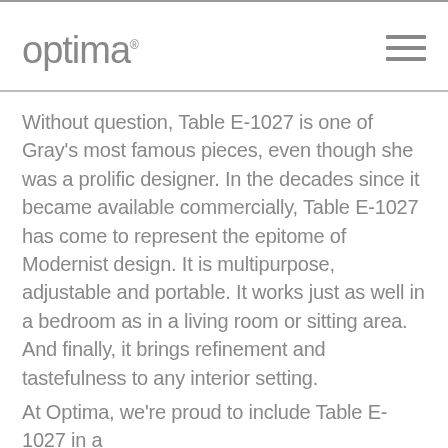optima
Without question, Table E-1027 is one of Gray's most famous pieces, even though she was a prolific designer. In the decades since it became available commercially, Table E-1027 has come to represent the epitome of Modernist design. It is multipurpose, adjustable and portable. It works just as well in a bedroom as in a living room or sitting area. And finally, it brings refinement and tastefulness to any interior setting.
At Optima, we're proud to include Table E-1027 in a